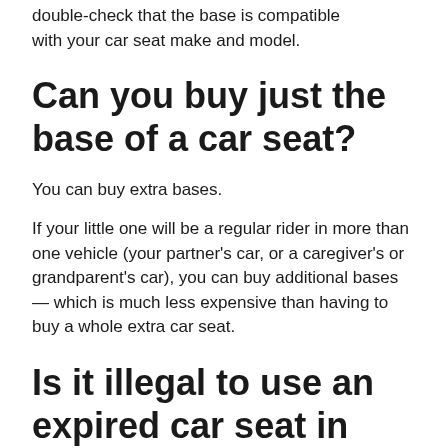double-check that the base is compatible with your car seat make and model.
Can you buy just the base of a car seat?
You can buy extra bases.
If your little one will be a regular rider in more than one vehicle (your partner’s car, or a caregiver’s or grandparent’s car), you can buy additional bases — which is much less expensive than having to buy a whole extra car seat.
Is it illegal to use an expired car seat in Australia?